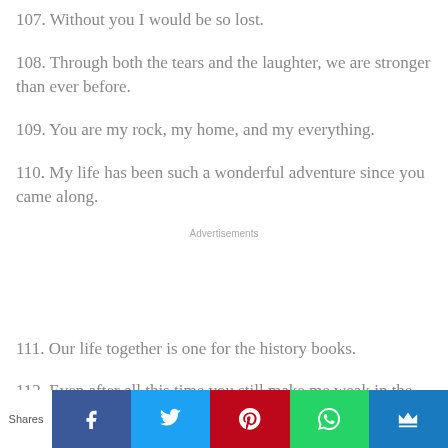107. Without you I would be so lost.
108. Through both the tears and the laughter, we are stronger than ever before.
109. You are my rock, my home, and my everything.
110. My life has been such a wonderful adventure since you came along.
Advertisements
111. Our life together is one for the history books.
112. Even after all this time you still make me weak in the knees.
Shares | Facebook | Twitter | Pinterest | WhatsApp | Crown